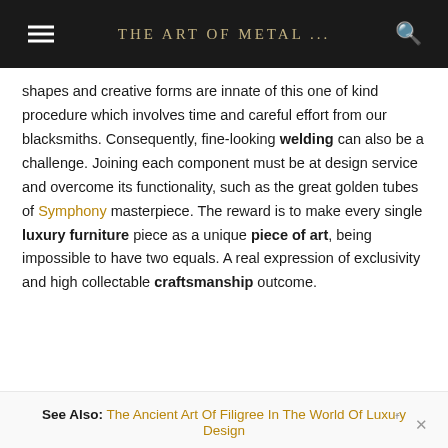THE ART OF METAL ...
shapes and creative forms are innate of this one of kind procedure which involves time and careful effort from our blacksmiths. Consequently, fine-looking welding can also be a challenge. Joining each component must be at design service and overcome its functionality, such as the great golden tubes of Symphony masterpiece. The reward is to make every single luxury furniture piece as a unique piece of art, being impossible to have two equals. A real expression of exclusivity and high collectable craftsmanship outcome.
See Also: The Ancient Art Of Filigree In The World Of Luxury Design